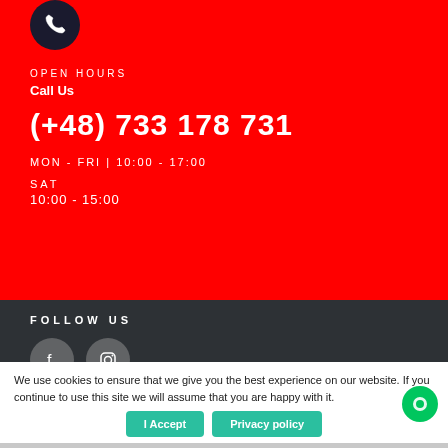OPEN HOURS
Call Us
(+48) 733 178 731
MON-FRI | 10:00 - 17:00
SAT
10:00 - 15:00
FOLLOW US
[Figure (illustration): Facebook and Instagram social media icons as circular grey buttons]
We use cookies to ensure that we give you the best experience on our website. If you continue to use this site we will assume that you are happy with it.
[Figure (infographic): Security badges: GoDaddy Secured, payment provider verified, SSL secured]
PAYMENT METHOD